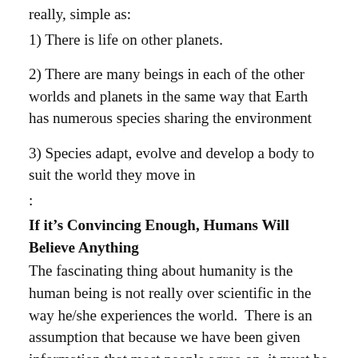really, simple as:
1) There is life on other planets.
2) There are many beings in each of the other worlds and planets in the same way that Earth has numerous species sharing the environment
3) Species adapt, evolve and develop a body to suit the world they move in
:
If it’s Convincing Enough, Humans Will Believe Anything
The fascinating thing about humanity is the human being is not really over scientific in the way he/she experiences the world.  There is an assumption that because we have been given information that most people agree on, it must be fact.  Think carefully about